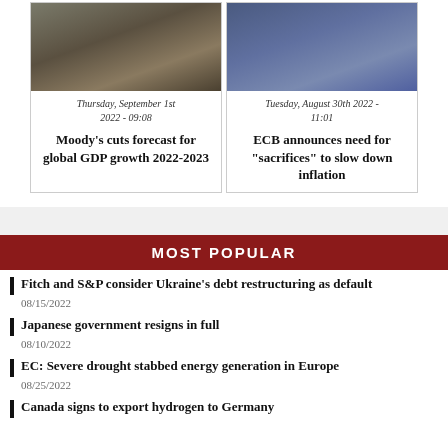[Figure (photo): Traffic photo - cars on a city street]
Thursday, September 1st 2022 - 09:08
Moody's cuts forecast for global GDP growth 2022-2023
[Figure (photo): EU flags photo]
Tuesday, August 30th 2022 - 11:01
ECB announces need for "sacrifices" to slow down inflation
MOST POPULAR
Fitch and S&P consider Ukraine's debt restructuring as default
08/15/2022
Japanese government resigns in full
08/10/2022
EC: Severe drought stabbed energy generation in Europe
08/25/2022
Canada signs to export hydrogen to Germany